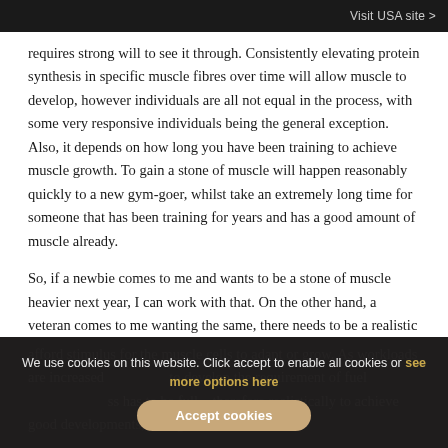Visit USA site >
requires strong will to see it through. Consistently elevating protein synthesis in specific muscle fibres over time will allow muscle to develop, however individuals are all not equal in the process, with some very responsive individuals being the general exception. Also, it depends on how long you have been training to achieve muscle growth. To gain a stone of muscle will happen reasonably quickly to a new gym-goer, whilst take an extremely long time for someone that has been training for years and has a good amount of muscle already.
So, if a newbie comes to me and wants to be a stone of muscle heavier next year, I can work with that. On the other hand, a veteran comes to me wanting the same, there needs to be a realistic change in goals! Using progressive load, similar movement patterns with increasing workload over time will afford stimulus for the muscle cells to adapt or grow. As workloads are increased to develop the requirement of fuel therefore realistically to achieve good developments, eating